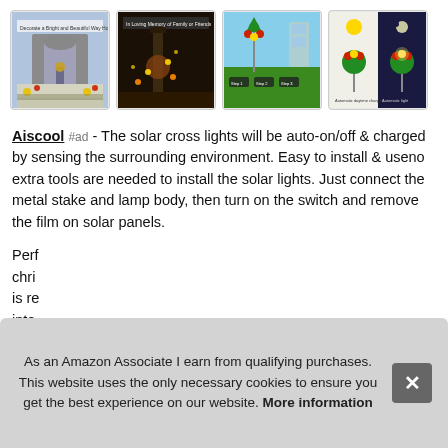[Figure (photo): Row of four product thumbnail images showing outdoor solar cross lights with Christmas decorations, including various scenes: decorated doorway, nighttime lights on a post, installation diagram, and product detail on blue/night background.]
Aiscool #ad - The solar cross lights will be auto-on/off & charged by sensing the surrounding environment. Easy to install & useno extra tools are needed to install the solar lights. Just connect the metal stake and lamp body, then turn on the switch and remove the film on solar panels.
Perf
chri
is re
into
As an Amazon Associate I earn from qualifying purchases. This website uses the only necessary cookies to ensure you get the best experience on our website. More information